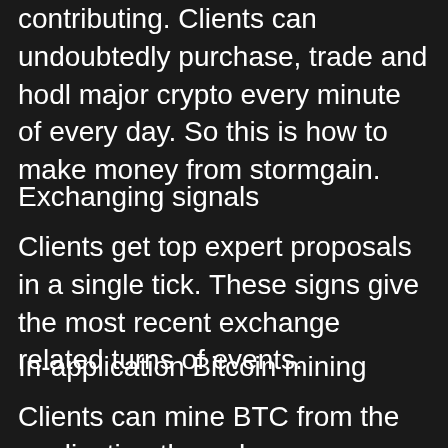contributing. Clients can undoubtedly purchase, trade and hodl major crypto every minute of every day. So this is how to make money from stormgain.
Exchanging signals
Clients get top expert proposals in a single tick. These signs give the most recent exchange related turns of events.
In-application Bitcoin mining
Clients can mine BTC from the application through our worldwide servers without